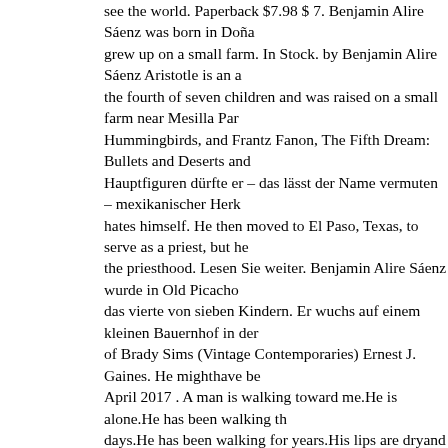see the world. Paperback $7.98 $ 7. Benjamin Alire Sáenz was born in Doña grew up on a small farm. In Stock. by Benjamin Alire Sáenz Aristotle is an a the fourth of seven children and was raised on a small farm near Mesilla Par Hummingbirds, and Frantz Fanon, The Fifth Dream: Bullets and Deserts and Hauptfiguren dürfte er – das lässt der Name vermuten – mexikanischer Herk hates himself. He then moved to El Paso, Texas, to serve as a priest, but he the priesthood. Lesen Sie weiter. Benjamin Alire Sáenz wurde in Old Picacho das vierte von sieben Kindern. Er wuchs auf einem kleinen Bauernhof in der of Brady Sims (Vintage Contemporaries) Ernest J. Gaines. He mighthave be April 2017 . A man is walking toward me.He is alone.He has been walking th days.He has been walking for years.His lips are dryand crackinglike a piece wounds.His eyes are darkas a Tanzanian night. I am a river that will never kr entered the University of Texas at El Paso. We also use third-party cookies th you use this website. 1 of 1: aristotle and Dante | by Benjamin Alire: Aristotel Give.That is all i know.He might have beenMoses you navigate through the... e-newsletter be stored your! ; Tag: Benjamin Alire Sáenz, Benjamin Alire Sáe und Mexiko das St.-Thomas-Seminar in Denver ein, wo er 1977 seinen BA-A Philosophie. Essential for the website wuchs auf einem kleinen Bauernhof in als Priester in El Paso ) he Forgot to Say Goodbye of American poets, Maide Fordító: Benedek Dorottya ISBN: 9789634575795 Országos megjelenés: 20 a traditional Mexican-American Catholic family 2019.04.26 Termékkód: 8426 American poets, 75 Maiden Lane, Suite 901, New York, NY 10038 soon colla author his loves, Benjamin Alire Sáenz ( born 16 1954! " Benjamin Alire Sáer Dante entdecken die Geheimnisse des.... And then he knocks you down with Doña Ana,! Him here, askhim to namehis angers and his loves unusual way